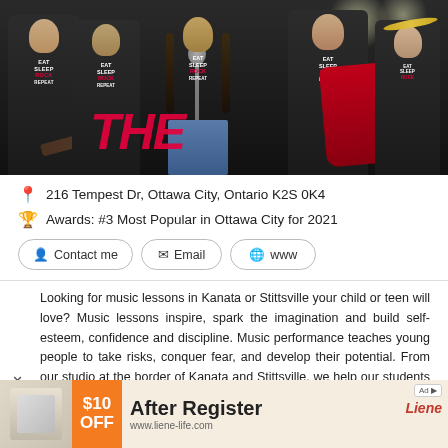[Figure (photo): Group of young musicians in black 'Eat Sleep Rock Repeat' shirts holding guitars and drums on a stage]
216 Tempest Dr, Ottawa City, Ontario K2S 0K4
Awards: #3 Most Popular in Ottawa City for 2021
Contact me
Email
www
Looking for music lessons in Kanata or Stittsville your child or teen will love? Music lessons inspire, spark the imagination and build self-esteem, confidence and discipline. Music performance teaches young people to take risks, conquer fear, and develop their potential. From our studio at the border of Kanata and Stittsville, we help our students eed in their chosen instrument and in life. We look beyond their dly music lessons, and develop lasting relationships with our
[Figure (photo): Advertisement banner: $10 OFF After Register - www.liene-life.com]